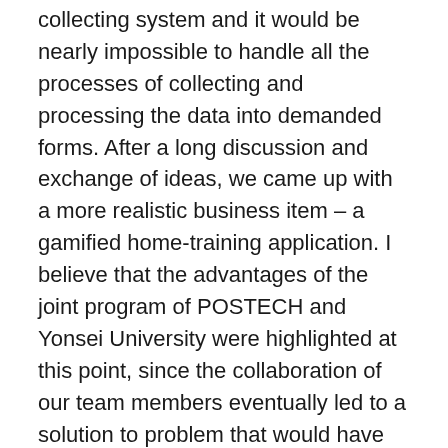collecting system and it would be nearly impossible to handle all the processes of collecting and processing the data into demanded forms. After a long discussion and exchange of ideas, we came up with a more realistic business item – a gamified home-training application. I believe that the advantages of the joint program of POSTECH and Yonsei University were highlighted at this point, since the collaboration of our team members eventually led to a solution to problem that would have been hard to overcome otherwise.
To further develop this business item, we planned various business models, such as BMC and LEAN, and repeatedly improved the UX and UI, conducting several surveys and constantly placing ourselves in the customers' shoes. Throughout the 10-day-long program, we presented our business models every day to the professors and other